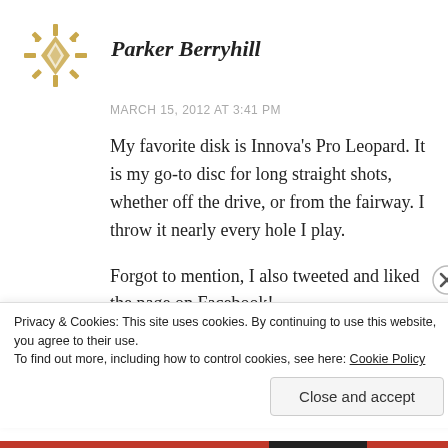[Figure (logo): Decorative geometric golden snowflake/diamond pattern avatar for user Parker Berryhill]
Parker Berryhill
MARCH 15, 2012 AT 3:41 PM
My favorite disk is Innova's Pro Leopard. It is my go-to disc for long straight shots, whether off the drive, or from the fairway. I throw it nearly every hole I play.
Forgot to mention, I also tweeted and liked the page on Facebook!
Privacy & Cookies: This site uses cookies. By continuing to use this website, you agree to their use.
To find out more, including how to control cookies, see here: Cookie Policy